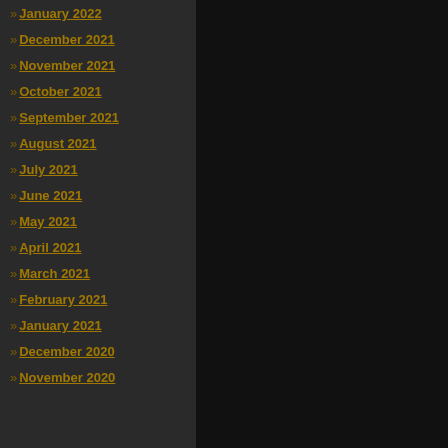» January 2022
» December 2021
» November 2021
» October 2021
» September 2021
» August 2021
» July 2021
» June 2021
» May 2021
» April 2021
» March 2021
» February 2021
» January 2021
» December 2020
» November 2020